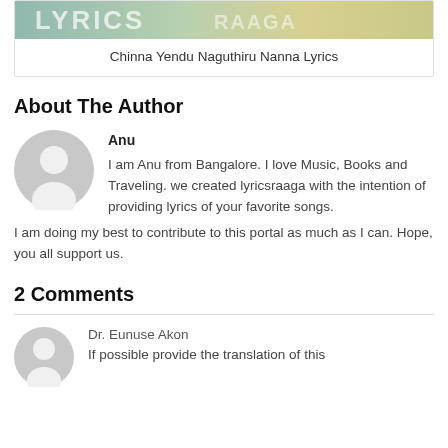[Figure (photo): Decorative image banner at top of card]
Chinna Yendu Naguthiru Nanna Lyrics
About The Author
[Figure (illustration): Generic user avatar silhouette (grey circle with person shape)]
Anu
I am Anu from Bangalore. I love Music, Books and Traveling. we created lyricsraaga with the intention of providing lyrics of your favorite songs.
I am doing my best to contribute to this portal as much as I can. Hope, you all support us.
2 Comments
[Figure (illustration): Generic user avatar silhouette (grey circle with person shape) for Dr. Eunuse Akon]
Dr. Eunuse Akon
If possible provide the translation of this